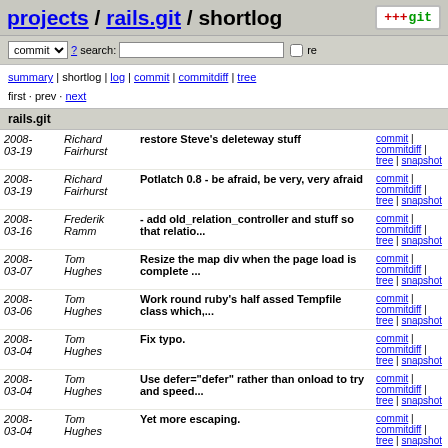projects / rails.git / shortlog
commit ? search: re
summary | shortlog | log | commit | commitdiff | tree
first · prev · next
rails.git
| Date | Author | Message | Links |
| --- | --- | --- | --- |
| 2008-03-19 | Richard Fairhurst | restore Steve's deleteway stuff | commit | commitdiff | tree | snapshot |
| 2008-03-19 | Richard Fairhurst | Potlatch 0.8 - be afraid, be very, very afraid | commit | commitdiff | tree | snapshot |
| 2008-03-16 | Frederik Ramm | - add old_relation_controller and stuff so that relatio... | commit | commitdiff | tree | snapshot |
| 2008-03-07 | Tom Hughes | Resize the map div when the page load is complete ... | commit | commitdiff | tree | snapshot |
| 2008-03-06 | Tom Hughes | Work round ruby's half assed Tempfile class which,... | commit | commitdiff | tree | snapshot |
| 2008-03-04 | Tom Hughes | Fix typo. | commit | commitdiff | tree | snapshot |
| 2008-03-04 | Tom Hughes | Use defer="defer" rather than onload to try and speed... | commit | commitdiff | tree | snapshot |
| 2008-03-04 | Tom Hughes | Yet more escaping. | commit | commitdiff | tree | snapshot |
| 2008-03-04 | Tom Hughes | More escaping. | commit | commitdiff |